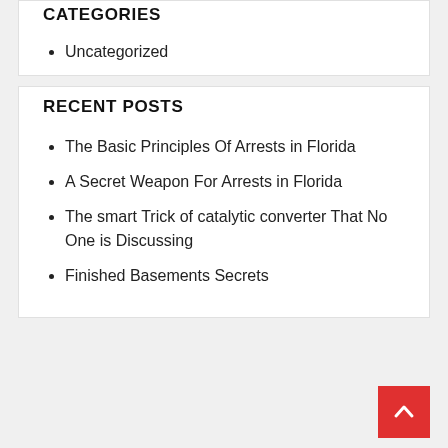CATEGORIES
Uncategorized
RECENT POSTS
The Basic Principles Of Arrests in Florida
A Secret Weapon For Arrests in Florida
The smart Trick of catalytic converter That No One is Discussing
Finished Basements Secrets